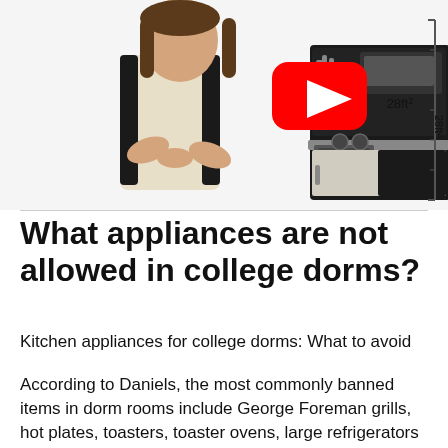[Figure (photo): A woman with arms crossed wearing a light apron/top with a backpack, overlaid with a YouTube play button icon, and next to a compact dorm kitchen unit. A ruler on the right side shows 28ft² measurement.]
What appliances are not allowed in college dorms?
Kitchen appliances for college dorms: What to avoid
According to Daniels, the most commonly banned items in dorm rooms include George Foreman grills, hot plates, toasters, toaster ovens, large refrigerators and electric skillets. Anything with an open flame is also